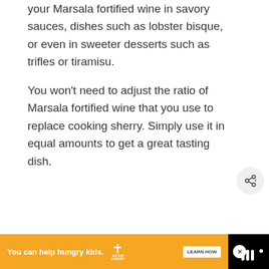your Marsala fortified wine in savory sauces, dishes such as lobster bisque, or even in sweeter desserts such as trifles or tiramisu.
You won't need to adjust the ratio of Marsala fortified wine that you use to replace cooking sherry. Simply use it in equal amounts to get a great tasting dish.
[Figure (infographic): Green circular like/heart button with heart icon, count of 1, and a share button below it]
[Figure (infographic): What's Next card showing a chicken image thumbnail with text 'How Long Is Chicken Go...']
[Figure (infographic): Advertisement banner: orange background with text 'You can help hungry kids.' No Kid Hungry logo and LEARN HOW button. Close X button. Black background with site logo on right.]